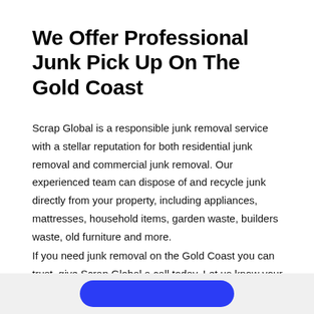We Offer Professional Junk Pick Up On The Gold Coast
Scrap Global is a responsible junk removal service with a stellar reputation for both residential junk removal and commercial junk removal. Our experienced team can dispose of and recycle junk directly from your property, including appliances, mattresses, household items, garden waste, builders waste, old furniture and more.
If you need junk removal on the Gold Coast you can trust, give Scrap Global a call today. Let us know your needs and we'll give you a free quote to get your place tidied up this festive season!
[Figure (other): Blue rounded button/call-to-action button visible at bottom of page on a light grey background]